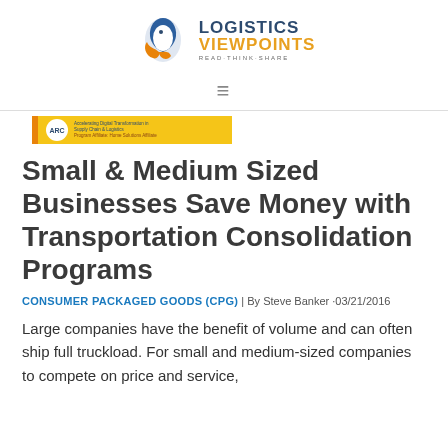[Figure (logo): Logistics Viewpoints logo with bird/penguin icon and tagline READ·THINK·SHARE]
≡
[Figure (logo): ARC Advisory Group banner with yellow background]
Small & Medium Sized Businesses Save Money with Transportation Consolidation Programs
CONSUMER PACKAGED GOODS (CPG) | By Steve Banker · 03/21/2016
Large companies have the benefit of volume and can often ship full truckload. For small and medium-sized companies to compete on price and service,